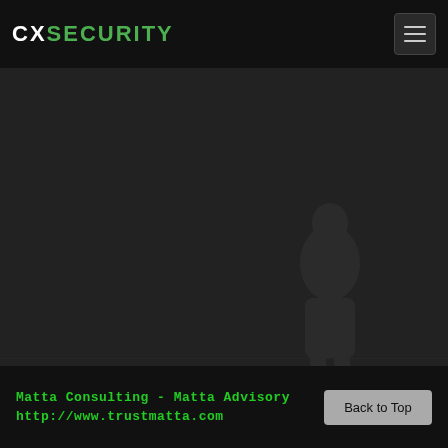CXSECURITY
[Figure (screenshot): Dark background main content area with faint ghost/watermark image of a person in the lower right area, on a dark gray/charcoal background.]
Matta Consulting - Matta Advisory
http://www.trustmatta.com
Back to Top